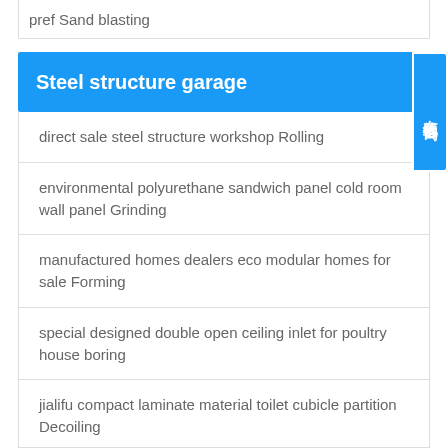pref Sand blasting
Steel structure garage
direct sale steel structure workshop Rolling
environmental polyurethane sandwich panel cold room wall panel Grinding
manufactured homes dealers eco modular homes for sale Forming
special designed double open ceiling inlet for poultry house boring
jialifu compact laminate material toilet cubicle partition Decoiling